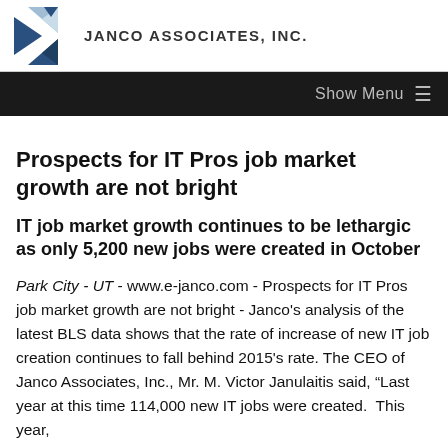Janco Associates, Inc.
Prospects for IT Pros job market growth are not bright
IT job market growth continues to be lethargic as only 5,200 new jobs were created in October
Park City - UT - www.e-janco.com - Prospects for IT Pros job market growth are not bright - Janco's analysis of the latest BLS data shows that the rate of increase of new IT job creation continues to fall behind 2015's rate. The CEO of Janco Associates, Inc., Mr. M. Victor Janulaitis said, “Last year at this time 114,000 new IT jobs were created. This year,